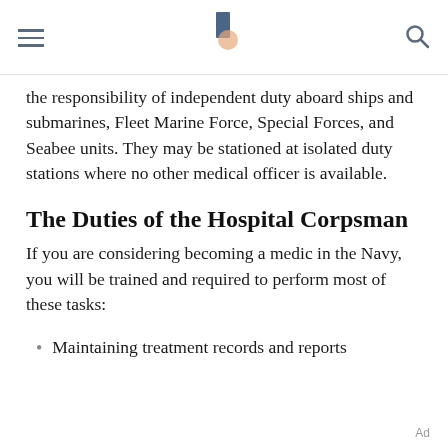[navigation bar with hamburger menu, logo, and search icon]
the responsibility of independent duty aboard ships and submarines, Fleet Marine Force, Special Forces, and Seabee units. They may be stationed at isolated duty stations where no other medical officer is available.
The Duties of the Hospital Corpsman
If you are considering becoming a medic in the Navy, you will be trained and required to perform most of these tasks:
Maintaining treatment records and reports